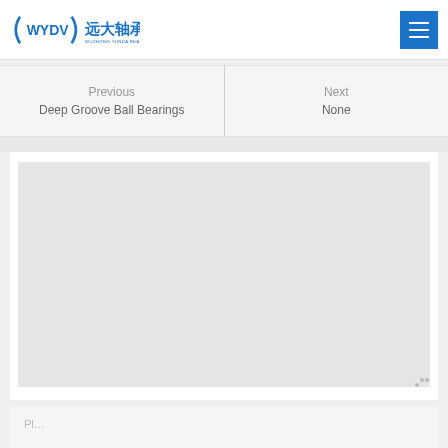WYDV 远大轴承
Previous
Deep Groove Ball Bearings
Next
None
[Figure (other): Gray placeholder image area for product content]
Pl...